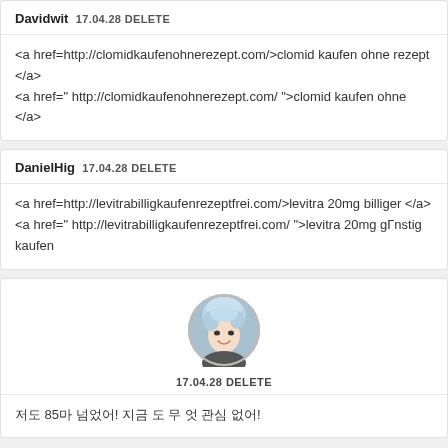Davidwit 17.04.28 DELETE
<a href=http://clomidkaufenohnerezept.com/>clomid kaufen ohne rezept </a>
<a href=" http://clomidkaufenohnerezept.com/ ">clomid kaufen ohne </a>
DanielHig 17.04.28 DELETE
<a href=http://levitrabilligkaufenrezeptfrei.com/>levitra 20mg billiger </a>
<a href=" http://levitrabilligkaufenrezeptfrei.com/ ">levitra 20mg gГnstig kaufen
[Figure (photo): Round avatar photo of a person with light blue/silver hair]
17.04.28 DELETE
저도 85마 넘었어! 지금 도 무 엇 관심 없어!